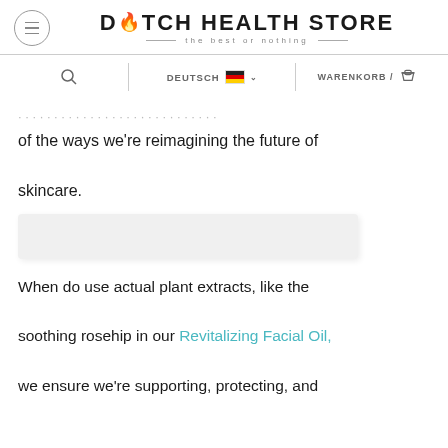Dutch Health Store — the best or nothing
[Figure (screenshot): Navigation bar with search icon, DEUTSCH language selector with German flag, and WARENKORB / cart icon]
of the ways we're reimagining the future of skincare.
[Figure (other): White/light gray rectangular placeholder image block]
When do use actual plant extracts, like the soothing rosehip in our Revitalizing Facial Oil, we ensure we're supporting, protecting, and